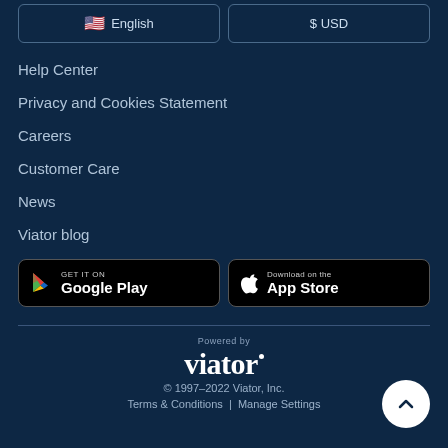English (language selector button)
$ USD (currency selector button)
Help Center
Privacy and Cookies Statement
Careers
Customer Care
News
Viator blog
[Figure (screenshot): GET IT ON Google Play button (black rounded rectangle with Google Play logo and text)]
[Figure (screenshot): Download on the App Store button (black rounded rectangle with Apple logo and text)]
Powered by
viator
© 1997–2022 Viator, Inc.
Terms & Conditions | Manage Settings